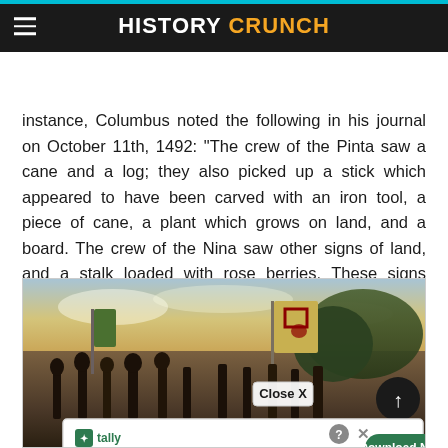HISTORY CRUNCH
Columbus and the crew knew they were nearing land by the different items they found floating in the water. For instance, Columbus noted the following in his journal on October 11th, 1492: “The crew of the Pinta saw a cane and a log; they also picked up a stick which appeared to have been carved with an iron tool, a piece of cane, a plant which grows on land, and a board. The crew of the Nina saw other signs of land, and a stalk loaded with rose berries. These signs encouraged them, and they all grew cheerful. Sailed this day till sunset, twenty-seven leagues.”
[Figure (photo): Historical painting depicting Columbus and his crew arriving at land, with people holding flags including a green flag and a yellow flag with a red cross emblem, set against a dramatic sky.]